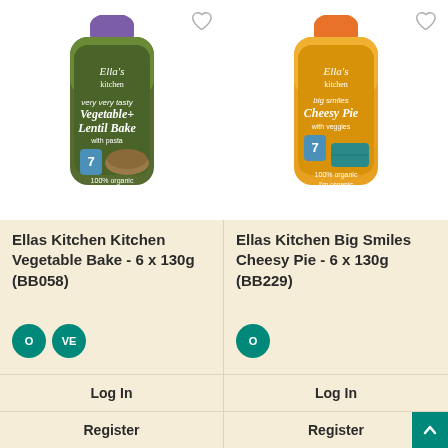[Figure (photo): Ella's Kitchen Vegetable + Lentil Bake food pouch with green packaging and purple cap]
Ellas Kitchen Kitchen Vegetable Bake - 6 x 130g (BB058)
O VE badges
Log In
Register
[Figure (photo): Ella's Kitchen Big Smiles Cheesy Pie food pouch with orange packaging and orange cap]
Ellas Kitchen Big Smiles Cheesy Pie - 6 x 130g (BB229)
O badge
Log In
Register